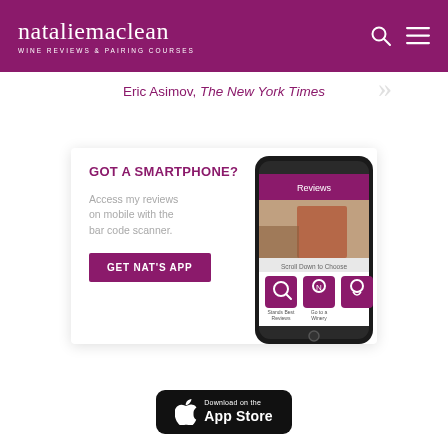natalie maclean — WINE REVIEWS & PAIRING COURSES
Eric Asimov, The New York Times
[Figure (screenshot): Promotional card for Natalie MacLean mobile app. Shows 'GOT A SMARTPHONE?' heading in purple, text 'Access my reviews on mobile with the bar code scanner.', a purple 'GET NAT'S APP' button, and a smartphone showing the app's reviews screen.]
[Figure (logo): Download on the App Store button — black rounded rectangle with Apple logo and 'Download on the App Store' text in white.]